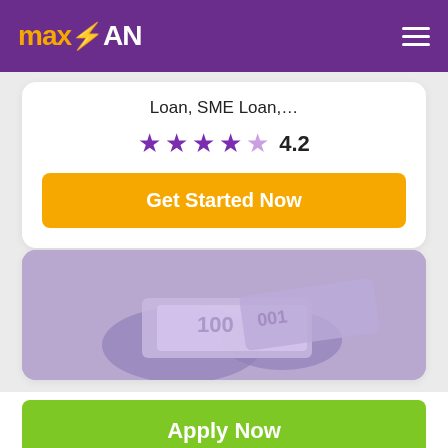[Figure (logo): MaxLoan logo with orange lightning bolt on purple header background]
Loan, SME Loan,...
4.2
Get Started Now
[Figure (photo): Purple-tinted photo of hands holding cash/banknotes]
Apply Now
Applying does NOT affect your credit score! No credit check to apply.